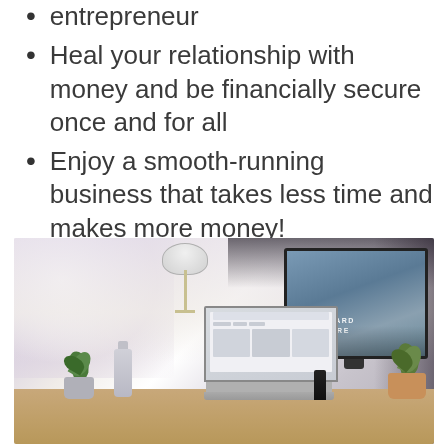entrepreneur
Heal your relationship with money and be financially secure once and for all
Enjoy a smooth-running business that takes less time and makes more money!
[Figure (photo): A desk workspace with a large desktop monitor showing 'WORK HARD ANYWHERE' text on a landscape screensaver, an open laptop, a white desk lamp, a small succulent plant in a gray pot, a gray water bottle, and a green plant in a terracotta pot on the right. Wooden desk surface visible.]